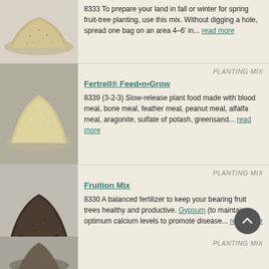[Figure (photo): Pile of granular soil/sand mix on light background]
8333 To prepare your land in fall or winter for spring fruit-tree planting, use this mix. Without digging a hole, spread one bag on an area 4–6' in... read more
[Figure (photo): Pile of light sandy granular material on grey background]
PLANTING MIX
Fertrell® Feed•n•Grow
8339 (3-2-3) Slow-release plant food made with blood meal, bone meal, feather meal, peanut meal, alfalfa meal, aragonite, sulfate of potash, greensand... read more
[Figure (photo): Pile of dark soil/fertilizer mix on light grey background]
PLANTING MIX
Fruition Mix
8330 A balanced fertilizer to keep your bearing fruit trees healthy and productive. Gypsum (to maintain optimum calcium levels to promote disease... read more
PLANTING MIX